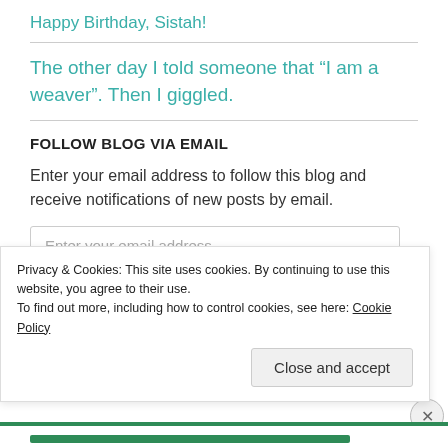Happy Birthday, Sistah!
The other day I told someone that “I am a weaver”. Then I giggled.
FOLLOW BLOG VIA EMAIL
Enter your email address to follow this blog and receive notifications of new posts by email.
Enter your email address
Privacy & Cookies: This site uses cookies. By continuing to use this website, you agree to their use.
To find out more, including how to control cookies, see here: Cookie Policy
Close and accept